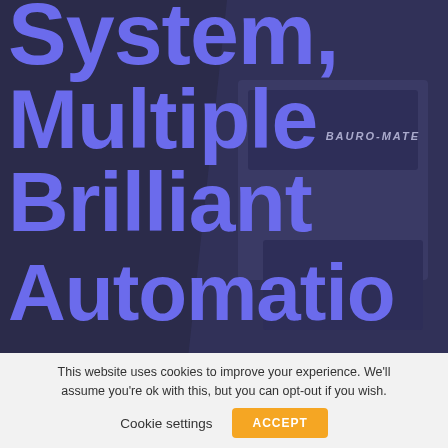[Figure (photo): Dark blue/purple background with an industrial machine labeled BAURO-MATE visible on the right side]
System, Multiple Brilliant Automatio
This website uses cookies to improve your experience. We'll assume you're ok with this, but you can opt-out if you wish.
Cookie settings   ACCEPT